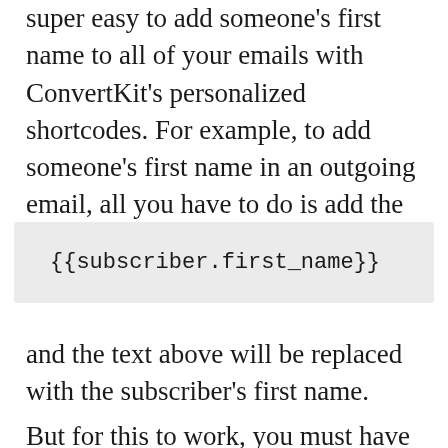super easy to add someone's first name to all of your emails with ConvertKit's personalized shortcodes. For example, to add someone's first name in an outgoing email, all you have to do is add the following:
and the text above will be replaced with the subscriber's first name.
But for this to work, you must have the subscriber's first name. The result d...